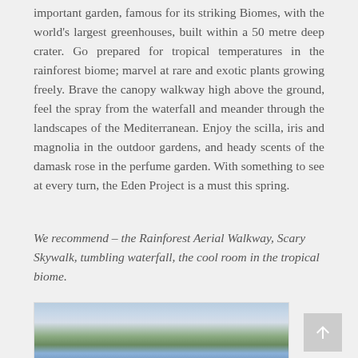important garden, famous for its striking Biomes, with the world's largest greenhouses, built within a 50 metre deep crater. Go prepared for tropical temperatures in the rainforest biome; marvel at rare and exotic plants growing freely. Brave the canopy walkway high above the ground, feel the spray from the waterfall and meander through the landscapes of the Mediterranean. Enjoy the scilla, iris and magnolia in the outdoor gardens, and heady scents of the damask rose in the perfume garden. With something to see at every turn, the Eden Project is a must this spring.
We recommend – the Rainforest Aerial Walkway, Scary Skywalk, tumbling waterfall, the cool room in the tropical biome.
[Figure (photo): Outdoor landscape photo showing sky with clouds, trees and a body of water at the bottom, likely the Eden Project gardens.]